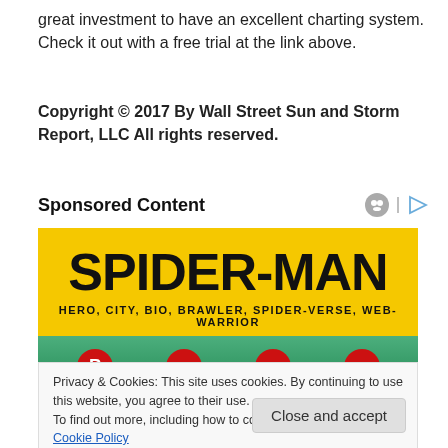great investment to have an excellent charting system. Check it out with a free trial at the link above.
Copyright © 2017 By Wall Street Sun and Storm Report, LLC All rights reserved.
Sponsored Content
[Figure (illustration): Spider-Man promotional banner ad with large bold SPIDER-MAN title text on yellow background with subtitle: HERO, CITY, BIO, BRAWLER, SPIDER-VERSE, WEB-WARRIOR, and colorful comic-style imagery below.]
Privacy & Cookies: This site uses cookies. By continuing to use this website, you agree to their use.
To find out more, including how to control cookies, see here: Cookie Policy
Close and accept